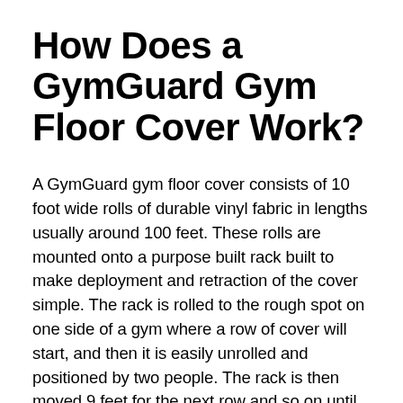How Does a GymGuard Gym Floor Cover Work?
A GymGuard gym floor cover consists of 10 foot wide rolls of durable vinyl fabric in lengths usually around 100 feet. These rolls are mounted onto a purpose built rack built to make deployment and retraction of the cover simple. The rack is rolled to the rough spot on one side of a gym where a row of cover will start, and then it is easily unrolled and positioned by two people. The rack is then moved 9 feet for the next row and so on until the whole